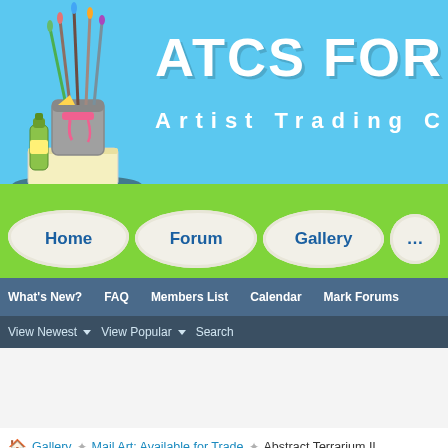[Figure (logo): ATCS For All website header banner with paint brushes logo and site title 'ATCS FOR ALL - Artist Trading Ca[rds]' on blue background]
Home | Forum | Gallery
What's New? | FAQ | Members List | Calendar | Mark Forums
View Newest ▼ View Popular ▼ Search
🏠 Gallery ❯ Mail Art: Available for Trade ❯ Abstract Terrarium II
If this is your first visit, be sure to check out the FAQ by clicking the link above. proceed. To start viewing messages, select the forum that you want to visit fro...